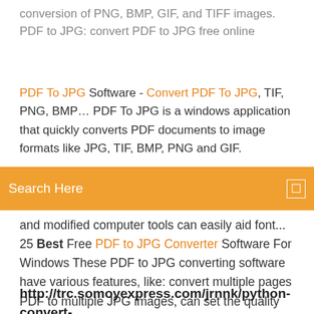conversion of PNG, BMP, GIF, and TIFF images. PDF to JPG: convert PDF to JPG free online
PDF To JPG Software - Convert PDF To JPG, TIF, PNG, BMP… PDF To JPG is a windows application that quickly converts PDF documents to image formats like JPG, TIF, BMP, PNG and GIF.
[Figure (screenshot): Orange search bar with text 'Search Here' and a search icon on the right]
and modified computer tools can easily aid font... 25 Best Free PDF to JPG Converter Software For Windows These PDF to JPG converting software have various features, like: convert multiple pages PDF to multiple JPG images, can set the quality and DPI setting of the output, can convert to other popular imageYou can try these free PDF to JPG converter software and find which one suits you best. PDF to JPG free convert, pdf to jpeg online converter
http://trc.somoyexpress.com/jrnnk/python-convert-